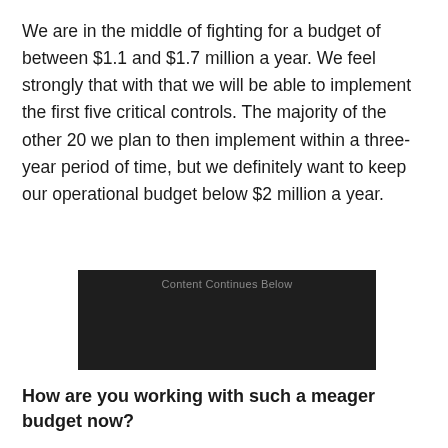We are in the middle of fighting for a budget of between $1.1 and $1.7 million a year. We feel strongly that with that we will be able to implement the first five critical controls. The majority of the other 20 we plan to then implement within a three-year period of time, but we definitely want to keep our operational budget below $2 million a year.
[Figure (other): Dark advertisement placeholder box with text 'Content Continues Below']
How are you working with such a meager budget now?